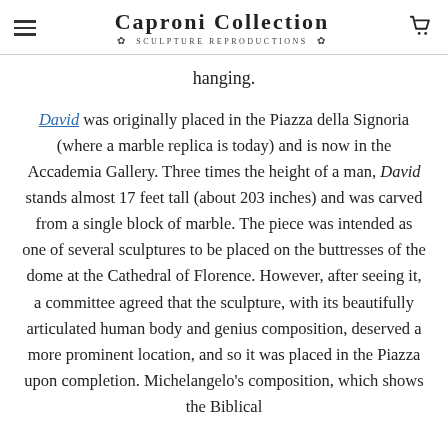Caproni Collection — Sculpture Reproductions
hanging.
David was originally placed in the Piazza della Signoria (where a marble replica is today) and is now in the Accademia Gallery. Three times the height of a man, David stands almost 17 feet tall (about 203 inches) and was carved from a single block of marble. The piece was intended as one of several sculptures to be placed on the buttresses of the dome at the Cathedral of Florence. However, after seeing it, a committee agreed that the sculpture, with its beautifully articulated human body and genius composition, deserved a more prominent location, and so it was placed in the Piazza upon completion. Michelangelo's composition, which shows the Biblical